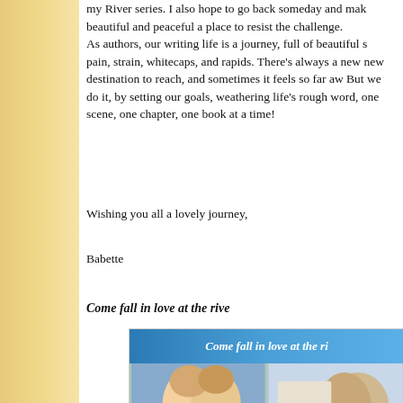my River series. I also hope to go back someday and make beautiful and peaceful a place to resist the challenge. As authors, our writing life is a journey, full of beautiful s pain, strain, whitecaps, and rapids. There’s always a new new destination to reach, and sometimes it feels so far aw But we do it, by setting our goals, weathering life’s rough word, one scene, one chapter, one book at a time!
Wishing you all a lovely journey,
Babette
Come fall in love at the rive
[Figure (illustration): Book cover collage banner showing 'Come fall in love at the ri' text on blue background with two book covers: Summertime Dream and Clear As, both by Babette James, with romantic couple photos and nature scenes]